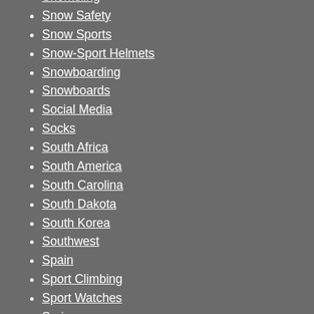Snorkeling
Snow Safety
Snow Sports
Snow-Sport Helmets
Snowboarding
Snowboards
Social Media
Socks
South Africa
South America
South Carolina
South Dakota
South Korea
Southwest
Spain
Sport Climbing
Sport Watches
Spring
St. John
steps
Strength and Power Training
strength training
Style
Summer
Sundog's Almanac of Ethical Answers
Sunglasses